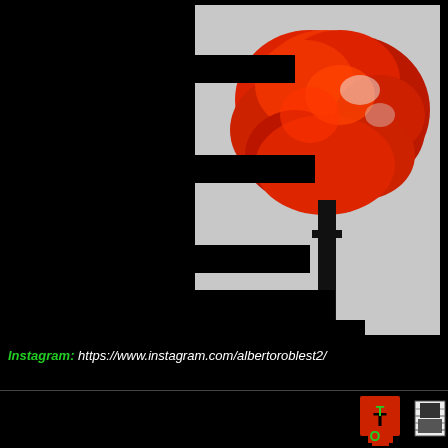[Figure (photo): A red-leafed tree displayed in a glitchy, fragmented manner on a dark background. The image appears to be a photo of a screen with horizontal scan-line interruptions creating a striped effect across the tree image.]
Instagram: https://www.instagram.com/albertoroblest2/
[Figure (photo): Colorful letter blocks spelling 'TO' in red/green and adjacent black-and-white imagery of objects, set against a black background.]